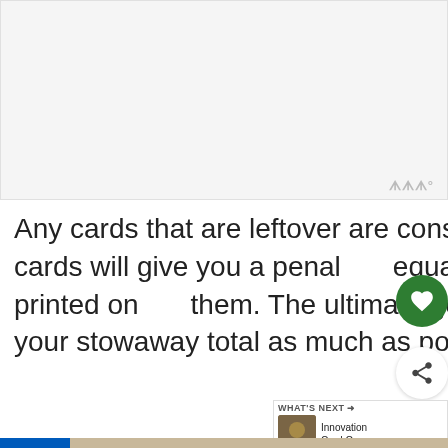[Figure (other): Blank/white image placeholder area at top of page]
Any cards that are leftover are considered stowaways. The cards will give you a penalty equal to the total of the numbers printed on them. The ultimate goal of the game is to limit your stowaway total as much as possible.
[Figure (infographic): Advertisement banner showing Ukrainian flag colors with text 'We Stand With You']